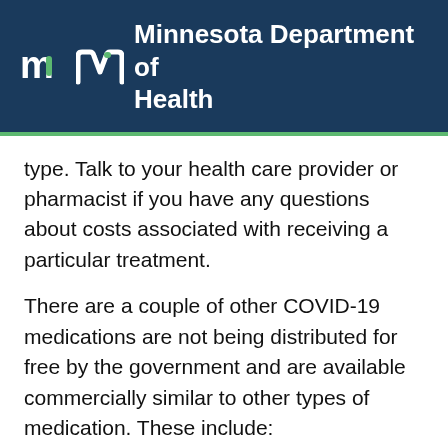Minnesota Department of Health
type. Talk to your health care provider or pharmacist if you have any questions about costs associated with receiving a particular treatment.
There are a couple of other COVID-19 medications are not being distributed for free by the government and are available commercially similar to other types of medication. These include:
Remdesivir
COVID-19 convalescent plasma (CCP)